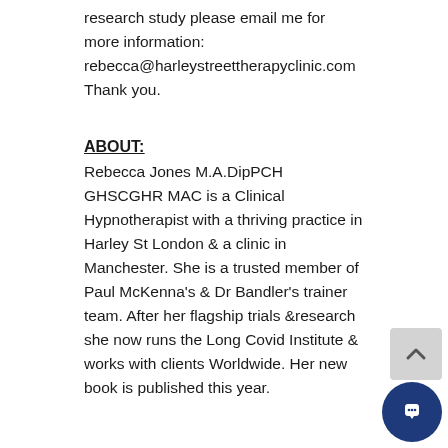If you would like to be involved in the research study please email me for more information: rebecca@harleystreettherapyclinic.com Thank you.
ABOUT:
Rebecca Jones M.A.DipPCH GHSCGHR MAC is a Clinical Hypnotherapist with a thriving practice in Harley St London & a clinic in Manchester. She is a trusted member of Paul McKenna's & Dr Bandler's trainer team. After her flagship trials &research she now runs the Long Covid Institute & works with clients Worldwide. Her new book is published this year.